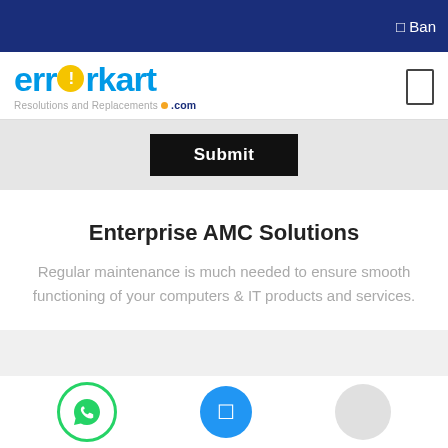Ban
[Figure (logo): errorkart.com logo with blue text, yellow exclamation circle, and tagline Resolutions and Replacements .com]
[Figure (screenshot): Submit button on gray background]
Enterprise AMC Solutions
Regular maintenance is much needed to ensure smooth functioning of your computers & IT products and services.
[Figure (other): Gray card area partially visible]
[Figure (other): Bottom bar with WhatsApp button, blue center button, and gray circle button]